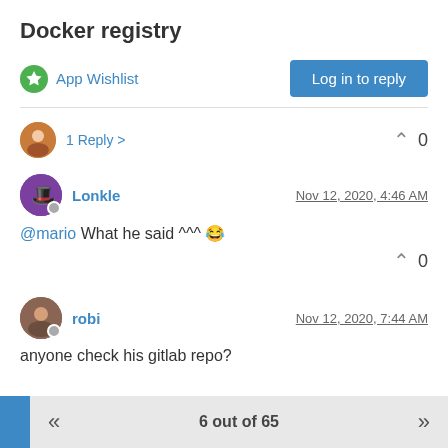Docker registry
App Wishlist
Log in to reply
1 Reply >   ^  0
Lonkle   Nov 12, 2020, 4:46 AM
@mario What he said ^^^ 😂
^  0
robi   Nov 12, 2020, 7:44 AM
anyone check his gitlab repo?
6 out of 65